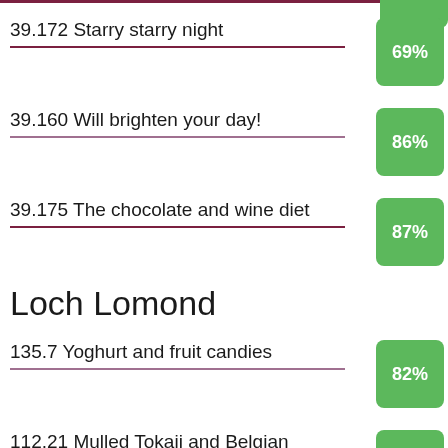39.172 Starry starry night
39.160 Will brighten your day!
39.175 The chocolate and wine diet
Loch Lomond
135.7 Yoghurt and fruit candies
112.21 Mulled Tokaji and Belgian waffles
112.20 Sweet, sassy and playful